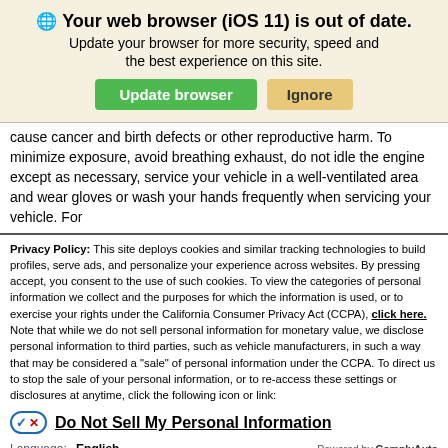🌐 Your web browser (iOS 11) is out of date. Update your browser for more security, speed and the best experience on this site.
cause cancer and birth defects or other reproductive harm. To minimize exposure, avoid breathing exhaust, do not idle the engine except as necessary, service your vehicle in a well-ventilated area and wear gloves or wash your hands frequently when servicing your vehicle. For
Privacy Policy: This site deploys cookies and similar tracking technologies to build profiles, serve ads, and personalize your experience across websites. By pressing accept, you consent to the use of such cookies. To view the categories of personal information we collect and the purposes for which the information is used, or to exercise your rights under the California Consumer Privacy Act (CCPA), click here. Note that while we do not sell personal information for monetary value, we disclose personal information to third parties, such as vehicle manufacturers, in such a way that may be considered a "sale" of personal information under the CCPA. To direct us to stop the sale of your personal information, or to re-access these settings or disclosures at anytime, click the following icon or link:
Do Not Sell My Personal Information
Language:  English  ∨  Powered by ComplyAuto
Accept and Continue →  California Privacy Disclosures  ×